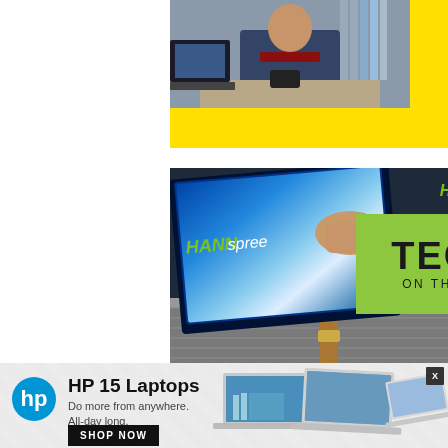[Figure (photo): Top ad: person in electronics store with yellow background block, looking at phone]
[Figure (photo): HANNspree ad: monitor/tablet screen being placed in a bag, logo and 'TECH ON THE GO' text on green background]
[Figure (photo): HP ad banner: HP 15 Laptops advertisement with logo, 'Do more from anywhere. All-day long.' tagline, SHOP NOW button, and laptop images. Has X close button.]